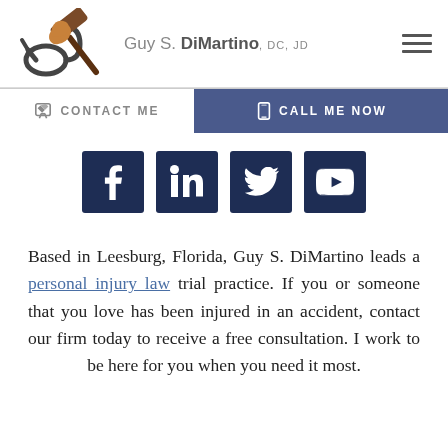Guy S. DiMartino, DC, JD
CONTACT ME
CALL ME NOW
[Figure (other): Social media icons: Facebook, LinkedIn, Twitter, YouTube]
Based in Leesburg, Florida, Guy S. DiMartino leads a personal injury law trial practice. If you or someone that you love has been injured in an accident, contact our firm today to receive a free consultation. I work to be here for you when you need it most.